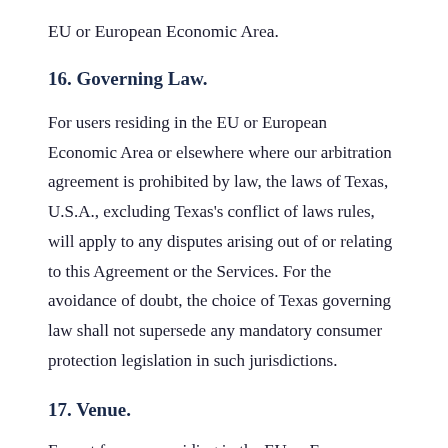EU or European Economic Area.
16. Governing Law.
For users residing in the EU or European Economic Area or elsewhere where our arbitration agreement is prohibited by law, the laws of Texas, U.S.A., excluding Texas’s conflict of laws rules, will apply to any disputes arising out of or relating to this Agreement or the Services. For the avoidance of doubt, the choice of Texas governing law shall not supersede any mandatory consumer protection legislation in such jurisdictions.
17. Venue.
Except for users residing in the EU or European